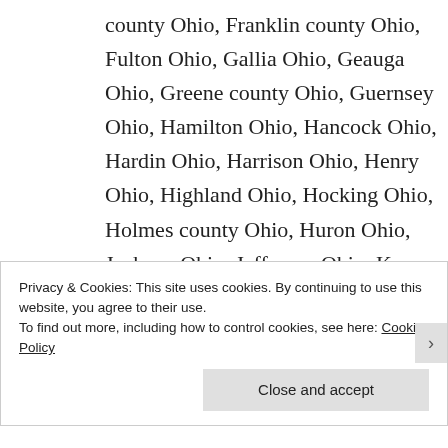county Ohio, Franklin county Ohio, Fulton Ohio, Gallia Ohio, Geauga Ohio, Greene county Ohio, Guernsey Ohio, Hamilton Ohio, Hancock Ohio, Hardin Ohio, Harrison Ohio, Henry Ohio, Highland Ohio, Hocking Ohio, Holmes county Ohio, Huron Ohio, Jackson Ohio, Jefferson Ohio, Knox Ohio, Lake Ohio, Lawrence Ohio,
Privacy & Cookies: This site uses cookies. By continuing to use this website, you agree to their use.
To find out more, including how to control cookies, see here: Cookie Policy